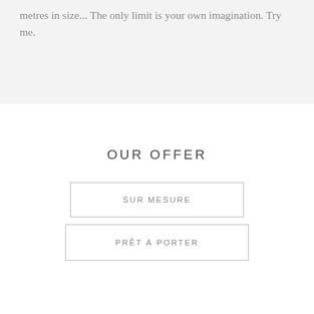metres in size... The only limit is your own imagination. Try me.
OUR OFFER
SUR MESURE
PRÊT À PORTER